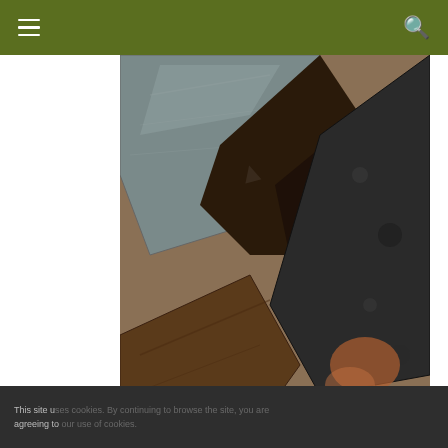Navigation bar with hamburger menu and search icon
[Figure (photo): Close-up photograph of large rocks and boulders, showing various textures including grey slate-like rocks, dark rough volcanic rock, brownish sandstone, and reddish-brown soil.]
Subscribe to PMags.com
Receive an email notification of new posts direct to your inbox once a week.
Old school text email digest
It is easy!
CLICK HERE TO SUBSCRIBE
This site u... agreeing to...